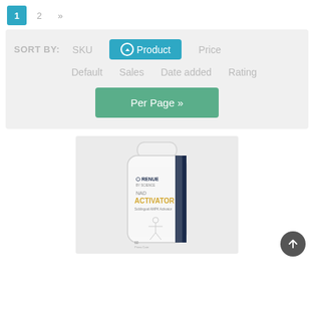1  2  »
SORT BY:   SKU   ↑ Product   Price   Default   Sales   Date added   Rating
Per Page »
[Figure (photo): White supplement bottle labeled 'RENUE BY SCIENCE NAD ACTIVATOR Sublingual AMPK Activator' with a human figure graphic, 60 capsules]